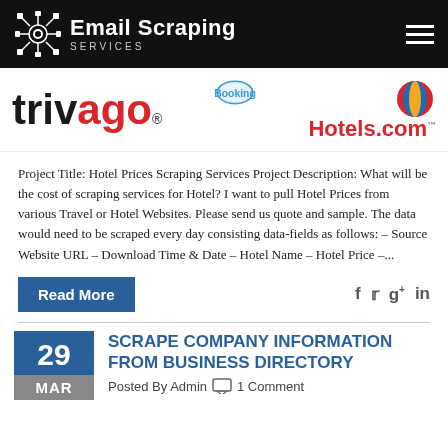Email Scraping SERVICES
[Figure (logo): Trivago and Hotels.com brand logos banner]
Project Title: Hotel Prices Scraping Services Project Description: What will be the cost of scraping services for Hotel? I want to pull Hotel Prices from various Travel or Hotel Websites. Please send us quote and sample. The data would need to be scraped every day consisting data-fields as follows: – Source Website URL – Download Time & Date – Hotel Name – Hotel Price –...
Read More
SCRAPE COMPANY INFORMATION FROM BUSINESS DIRECTORY
29 MAR Posted By Admin 1 Comment